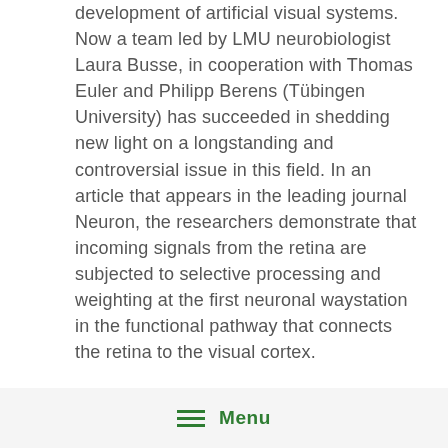development of artificial visual systems. Now a team led by LMU neurobiologist Laura Busse, in cooperation with Thomas Euler and Philipp Berens (Tübingen University) has succeeded in shedding new light on a longstanding and controversial issue in this field. In an article that appears in the leading journal Neuron, the researchers demonstrate that incoming signals from the retina are subjected to selective processing and weighting at the first neuronal waystation in the functional pathway that connects the retina to the visual cortex.
In the mouse, the visual image that impinges on the retina is received by more than 30 specialized and functionally distinct types of ganglion cells. These different cell types respond in different ways to the input from the photoreceptors. For example, some
Menu